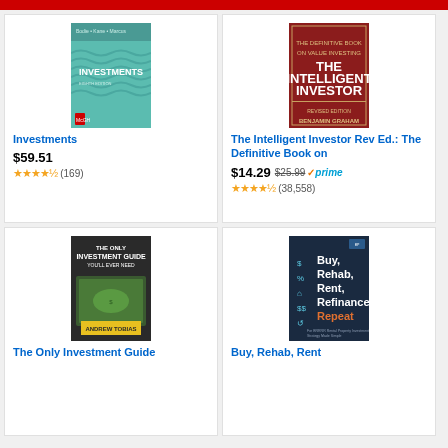[Figure (screenshot): Amazon product listing grid showing 4 investment books with covers, titles, prices and ratings]
Investments
$59.51
★★★★½ (169)
The Intelligent Investor Rev Ed.: The Definitive Book on
$14.29 $25.99 ✓prime
★★★★½ (38,558)
The Only Investment Guide
Buy, Rehab, Rent